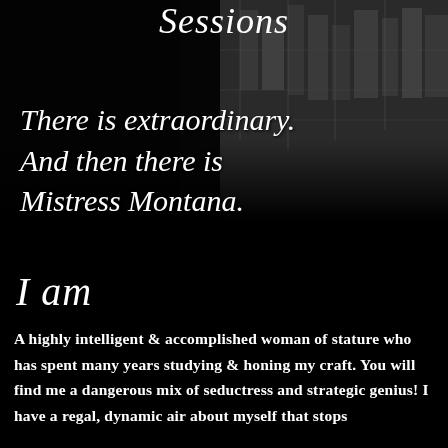Sessions
There is extraordinary. And then there is Mistress Montana.
I am
A highly intelligent & accomplished woman of stature who has spent many years studying & honing my craft. You will find me a dangerous mix of seductress and strategic genius! I have a regal, dynamic air about myself that stops